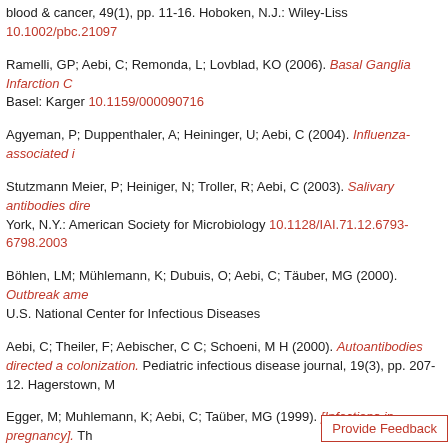blood & cancer, 49(1), pp. 11-16. Hoboken, N.J.: Wiley-Liss 10.1002/pbc.21097
Ramelli, GP; Aebi, C; Remonda, L; Lovblad, KO (2006). Basal Ganglia Infarction C Basel: Karger 10.1159/000090716
Agyeman, P; Duppenthaler, A; Heininger, U; Aebi, C (2004). Influenza-associated i
Stutzmann Meier, P; Heiniger, N; Troller, R; Aebi, C (2003). Salivary antibodies dire York, N.Y.: American Society for Microbiology 10.1128/IAI.71.12.6793-6798.2003
Böhlen, LM; Mühlemann, K; Dubuis, O; Aebi, C; Täuber, MG (2000). Outbreak ame U.S. National Center for Infectious Diseases
Aebi, C; Theiler, F; Aebischer, C C; Schoeni, M H (2000). Autoantibodies directed a colonization. Pediatric infectious disease journal, 19(3), pp. 207-12. Hagerstown, M
Egger, M; Muhlemann, K; Aebi, C; Taüber, MG (1999). [Infections in pregnancy]. Th
Pfenninger, J; Aebi, C; Bachmann, D; Wagner, B P (1992). Lung mechanics and ga (Exosurf). Pediatric pulmonology, 14(1), pp. 10-5. Hoboken, N.J.: Wiley-Blackwell
Conference or Workshop Item
Bartenstein, A; Cholewa, D; Aebi, C; Zachariou, Z (2010). The role of thoracoscopi of Pediatric Surgery. Bern, Switzerland. June 2nd - 5th, 2010.